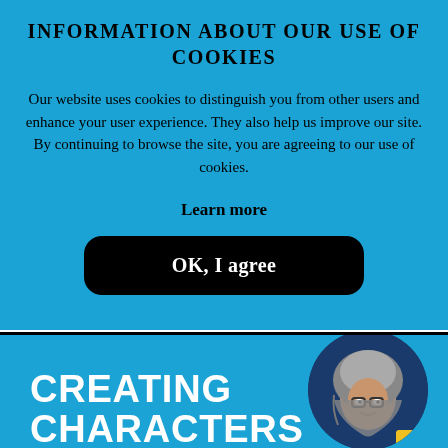INFORMATION ABOUT OUR USE OF COOKIES
Our website uses cookies to distinguish you from other users and enhance your user experience. They also help us improve our site. By continuing to browse the site, you are agreeing to our use of cookies.
Learn more
OK, I agree
CREATING CHARACTERS